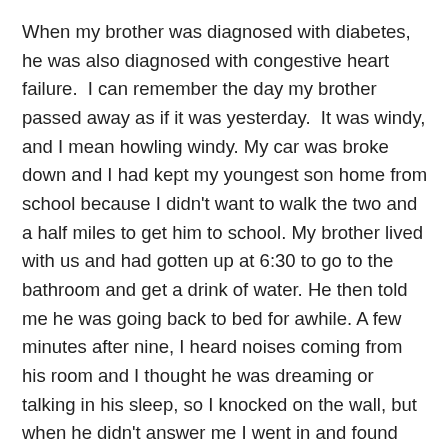When my brother was diagnosed with diabetes, he was also diagnosed with congestive heart failure.  I can remember the day my brother passed away as if it was yesterday.  It was windy, and I mean howling windy. My car was broke down and I had kept my youngest son home from school because I didn't want to walk the two and a half miles to get him to school. My brother lived with us and had gotten up at 6:30 to go to the bathroom and get a drink of water. He then told me he was going back to bed for awhile. A few minutes after nine, I heard noises coming from his room and I thought he was dreaming or talking in his sleep, so I knocked on the wall, but when he didn't answer me I went in and found him having a seizure.  I called my sister and she called 911. I was starting to panic and said to myself, “What would